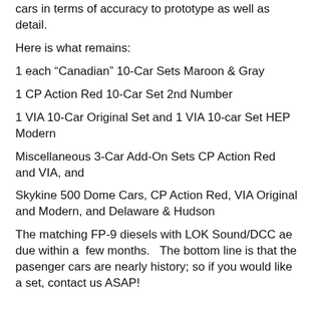cars in terms of accuracy to prototype as well as detail.
Here is what remains:
1 each “Canadian” 10-Car Sets Maroon & Gray
1 CP Action Red 10-Car Set 2nd Number
1 VIA 10-Car Original Set and 1 VIA 10-car Set HEP Modern
Miscellaneous 3-Car Add-On Sets CP Action Red and VIA, and
Skykine 500 Dome Cars, CP Action Red, VIA Original and Modern, and Delaware & Hudson
The matching FP-9 diesels with LOK Sound/DCC ae due within a  few months.   The bottom line is that the pasenger cars are nearly history; so if you would like a set, contact us ASAP!